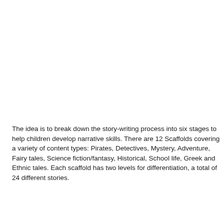The idea is to break down the story-writing process into six stages to help children develop narrative skills. There are 12 Scaffolds covering a variety of content types: Pirates, Detectives, Mystery, Adventure, Fairy tales, Science fiction/fantasy, Historical, School life, Greek and Ethnic tales. Each scaffold has two levels for differentiation, a total of 24 different stories.